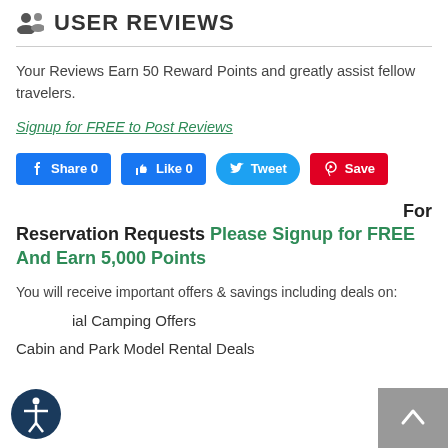USER REVIEWS
Your Reviews Earn 50 Reward Points and greatly assist fellow travelers.
Signup for FREE to Post Reviews
[Figure (other): Social media buttons: Share 0 (Facebook), Like 0 (Facebook), Tweet (Twitter), Save (Pinterest)]
For Reservation Requests Please Signup for FREE And Earn 5,000 Points
You will receive important offers & savings including deals on:
Special Camping Offers
Cabin and Park Model Rental Deals